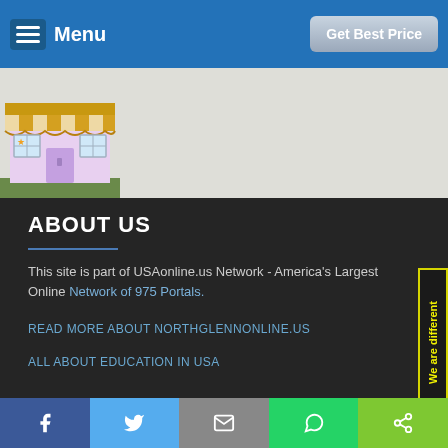Menu | Get Best Price
[Figure (illustration): Cartoon store/shop front illustration with striped awning in yellow and white, store windows and signage]
ABOUT US
This site is part of USAonline.us Network - America's Largest Online Network of 975 Portals.
READ MORE ABOUT NORTHGLENNONLINE.US
ALL ABOUT EDUCATION IN USA
[Figure (infographic): Vertical side tab with yellow text reading 'We are different' on dark background with yellow border]
USEFUL LINKS
Facebook | Twitter | Email | WhatsApp | Share